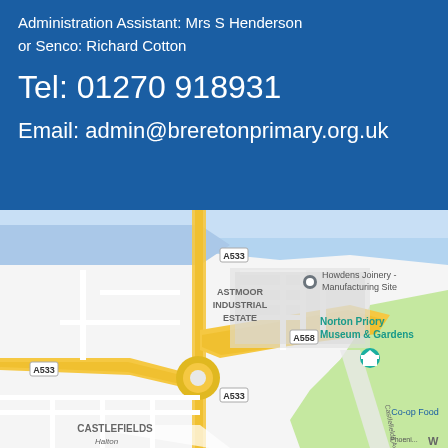Administration Assistant: Mrs S Henderson
or Senco: Richard Cotton
Tel: 01270 918931
Email: admin@breretonprimary.org.uk
[Figure (map): Google Maps screenshot showing Astmoor Industrial Estate area near Runcorn, Cheshire, with roads A533 and A558, Howdens Joinery Manufacturing Site, Norton Priory Museum & Gardens, Co-op Food, and Castlefields area visible]